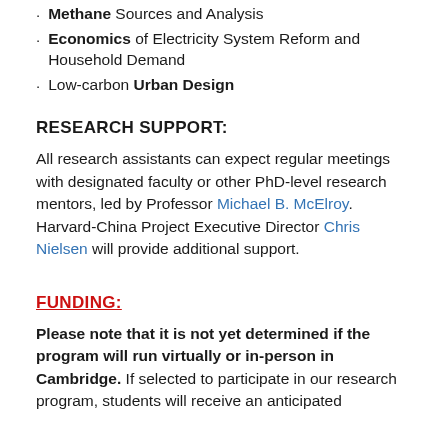Methane Sources and Analysis
Economics of Electricity System Reform and Household Demand
Low-carbon Urban Design
RESEARCH SUPPORT:
All research assistants can expect regular meetings with designated faculty or other PhD-level research mentors, led by Professor Michael B. McElroy. Harvard-China Project Executive Director Chris Nielsen will provide additional support.
FUNDING:
Please note that it is not yet determined if the program will run virtually or in-person in Cambridge. If selected to participate in our research program, students will receive an anticipated